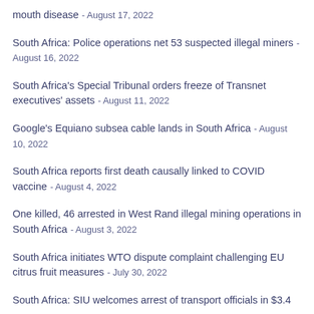mouth disease - August 17, 2022
South Africa: Police operations net 53 suspected illegal miners - August 16, 2022
South Africa's Special Tribunal orders freeze of Transnet executives' assets - August 11, 2022
Google's Equiano subsea cable lands in South Africa - August 10, 2022
South Africa reports first death causally linked to COVID vaccine - August 4, 2022
One killed, 46 arrested in West Rand illegal mining operations in South Africa - August 3, 2022
South Africa initiates WTO dispute complaint challenging EU citrus fruit measures - July 30, 2022
South Africa: SIU welcomes arrest of transport officials in $3.4